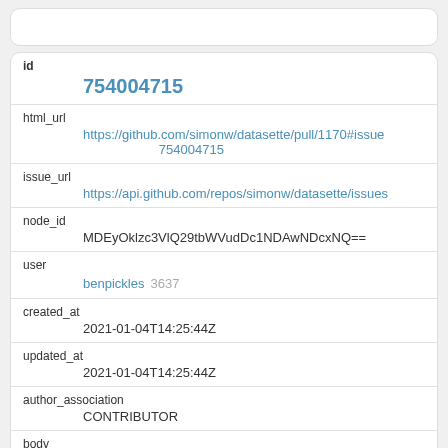| id | 754004715 |
| html_url | https://github.com/simonw/datasette/pull/1170#issue754004715 |
| issue_url | https://api.github.com/repos/simonw/datasette/issues |
| node_id | MDEyOklzc3VlQ29tbWVudDc1NDAwNDcxNQ== |
| user | benpickles 3637 |
| created_at | 2021-01-04T14:25:44Z |
| updated_at | 2021-01-04T14:25:44Z |
| author_association | CONTRIBUTOR |
| body |  |